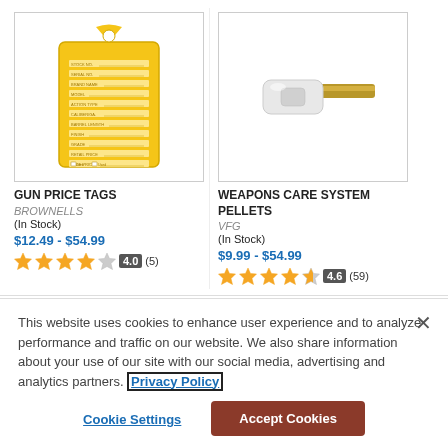[Figure (photo): Yellow gun price tag with fields for stock no, serial no, brand name, model, action type, calibration, barrel length, finish, grade, retail price, sale price]
GUN PRICE TAGS
BROWNELLS
(In Stock)
$12.49 - $54.99
4.0 (5)
[Figure (photo): White cylindrical cleaning pellet with brass/gold rod attachment for gun cleaning]
WEAPONS CARE SYSTEM PELLETS
VFG
(In Stock)
$9.99 - $54.99
4.6 (59)
This website uses cookies to enhance user experience and to analyze performance and traffic on our website. We also share information about your use of our site with our social media, advertising and analytics partners. Privacy Policy
Cookie Settings
Accept Cookies